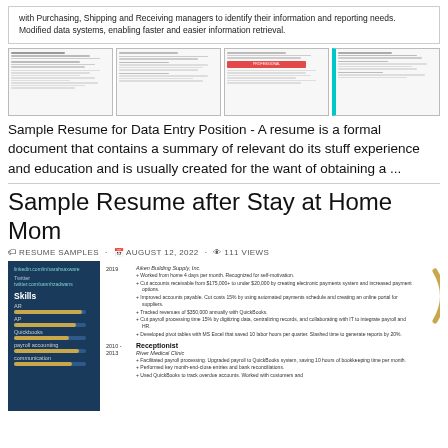with Purchasing, Shipping and Receiving managers to identify their information and reporting needs. Modified data systems, enabling faster and easier information retrieval.
[Figure (screenshot): Four thumbnail images of sample resumes side by side]
Sample Resume for Data Entry Position - A resume is a formal document that contains a summary of relevant do its stuff experience and education and is usually created for the want of obtaining a ...
Sample Resume after Stay at Home Mom
RESUME SAMPLES · AUGUST 12, 2022 · 111 Views
[Figure (screenshot): Preview of a sample resume after stay at home mom, showing a dark blue sidebar with skills (AR, AP, Quickbooks, payroll accounting, communication) and main content with job entries including Aiken Building Supply Inc (2019) and Receptionist at River Medical Clinic (2010-2013)]